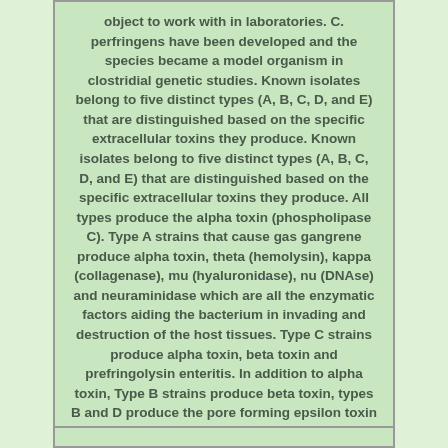object to work with in laboratories. C. perfringens have been developed and the species became a model organism in clostridial genetic studies. Known isolates belong to five distinct types (A, B, C, D, and E) that are distinguished based on the specific extracellular toxins they produce. Known isolates belong to five distinct types (A, B, C, D, and E) that are distinguished based on the specific extracellular toxins they produce. All types produce the alpha toxin (phospholipase C). Type A strains that cause gas gangrene produce alpha toxin, theta (hemolysin), kappa (collagenase), mu (hyaluronidase), nu (DNAse) and neuraminidase which are all the enzymatic factors aiding the bacterium in invading and destruction of the host tissues. Type C strains produce alpha toxin, beta toxin and prefringolysin enteritis. In addition to alpha toxin, Type B strains produce beta toxin, types B and D produce the pore forming epsilon toxin and type E strains produce iota toxin.